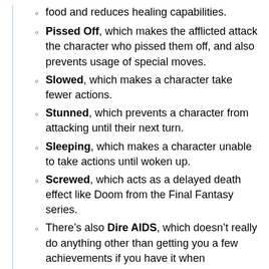food and reduces healing capabilities.
Pissed Off, which makes the afflicted attack the character who pissed them off, and also prevents usage of special moves.
Slowed, which makes a character take fewer actions.
Stunned, which prevents a character from attacking until their next turn.
Sleeping, which makes a character unable to take actions until woken up.
Screwed, which acts as a delayed death effect like Doom from the Final Fantasy series.
There’s also Dire AIDS, which doesn’t really do anything other than getting you a few achievements if you have it when completing certain storyline tasks. Getting it cured once will leave you with regular AIDS which needs to be cured a second time.
Starter Villain Stays: At the start of the game, Clyde is a low level warrior in the forces of the Kingdom Of Kupa...